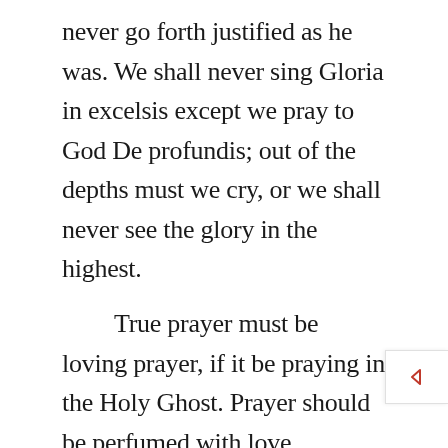never go forth justified as he was. We shall never sing Gloria in excelsis except we pray to God De profundis; out of the depths must we cry, or we shall never see the glory in the highest.

True prayer must be loving prayer, if it be praying in the Holy Ghost. Prayer should be perfumed with love, saturated with love; love to our fellow saints, and love to Christ. Moreover, it must be a prayer full of faith. The effectual fervent prayer of a man prevails only as he believes in God, and the Holy Spirit is the author of faith in